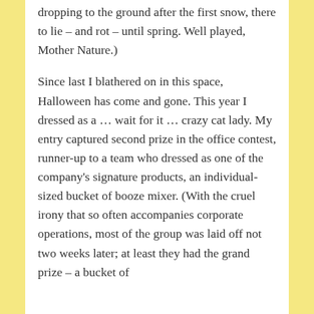dropping to the ground after the first snow, there to lie – and rot – until spring. Well played, Mother Nature.)
Since last I blathered on in this space, Halloween has come and gone. This year I dressed as a … wait for it … crazy cat lady. My entry captured second prize in the office contest, runner-up to a team who dressed as one of the company's signature products, an individual-sized bucket of booze mixer. (With the cruel irony that so often accompanies corporate operations, most of the group was laid off not two weeks later; at least they had the grand prize – a bucket of